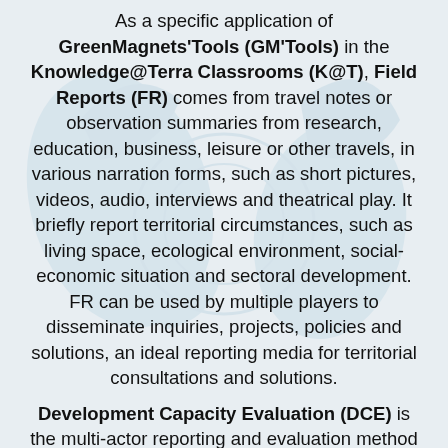As a specific application of GreenMagnets'Tools (GM'Tools) in the Knowledge@Terra Classrooms (K@T), Field Reports (FR) comes from travel notes or observation summaries from research, education, business, leisure or other travels, in various narration forms, such as short pictures, videos, audio, interviews and theatrical play. It briefly report territorial circumstances, such as living space, ecological environment, social-economic situation and sectoral development. FR can be used by multiple players to disseminate inquiries, projects, policies and solutions, an ideal reporting media for territorial consultations and solutions.
Development Capacity Evaluation (DCE) is the multi-actor reporting and evaluation method of K@T, an innovative exploration and supplement to traditional reports and